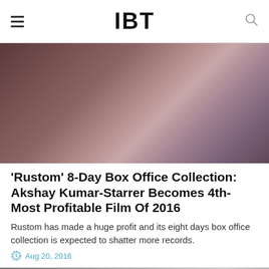IBT
[Figure (photo): Blurred hero image with dark brown and mauve tones]
'Rustom' 8-Day Box Office Collection: Akshay Kumar-Starrer Becomes 4th-Most Profitable Film Of 2016
Rustom has made a huge profit and its eight days box office collection is expected to shatter more records.
Aug 20, 2016
[Figure (photo): Bottom partial image with grey gradient tones]